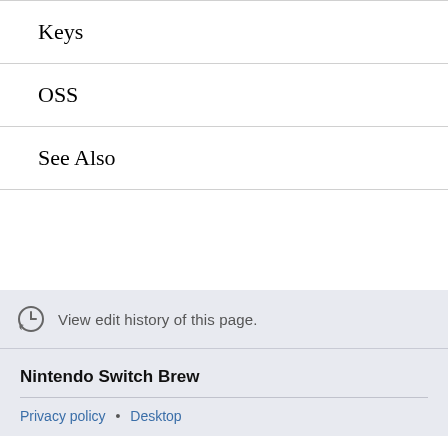Keys
OSS
See Also
View edit history of this page.
Nintendo Switch Brew
Privacy policy • Desktop